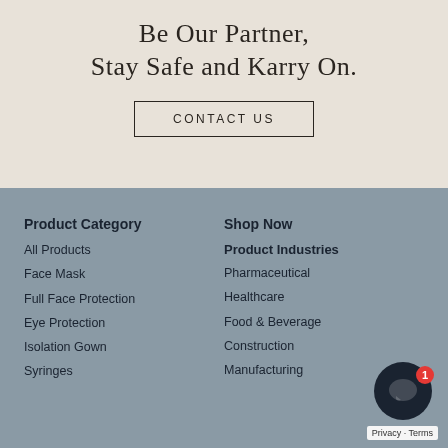Be Our Partner, Stay Safe and Karry On.
CONTACT US
Product Category
All Products
Face Mask
Full Face Protection
Eye Protection
Isolation Gown
Syringes
Shop Now
Product Industries
Pharmaceutical
Healthcare
Food & Beverage
Construction
Manufacturing